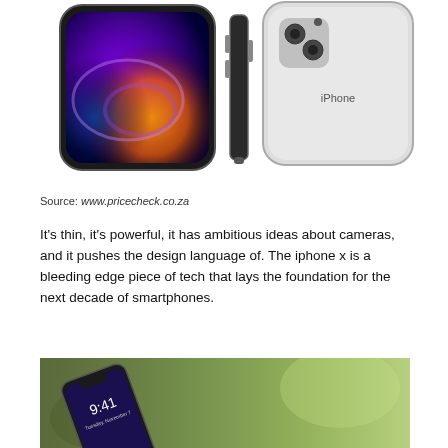[Figure (photo): Three views of iPhone XS: front view showing colorful abstract display, side profile view, and back view showing white/silver finish with 'iPhone' text]
Source: www.pricecheck.co.za
It's thin, it's powerful, it has ambitious ideas about cameras, and it pushes the design language of. The iphone x is a bleeding edge piece of tech that lays the foundation for the next decade of smartphones.
[Figure (photo): iPhone X shown at an angle on a blurred green outdoor background, lock screen showing 9:41 time]